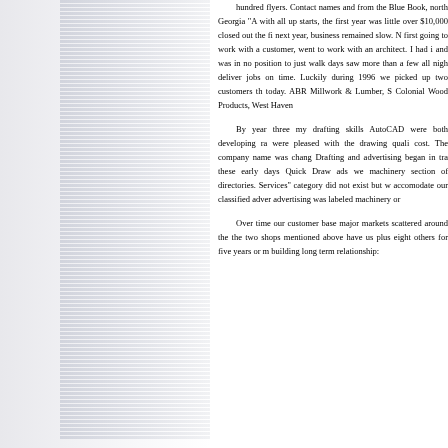[Figure (illustration): Left panel with diagonal striped/lined gradient background in light gray and white tones]
hundred flyers. Contact names and from the Blue Book, north Georgia "A with all up starts, the first year was little over $10,000 closed out the fi next year, business remained slow. N first going to work with a customer, went to work with an architect. I had i and was in no position to just walk days saw more than a few all nigh deliver jobs on time. Luckily during 1996 we picked up two customers th today. ABR Millwork & Lumber, S Colonial Wood Products, West Haven

By year three my drafting skills AutoCAD were both developing ra were pleased with the drawing quali cost. The company name was chang Drafting and advertising began in tra these early days Quick Draw ads we machinery section of directories. Services" category did not exist but w accomodate our classified adver advertising was labeled machinery or

Over time our customer base major markets scattered around the the two shops mentioned above have us plus eight others for five years or m building long term relationship: